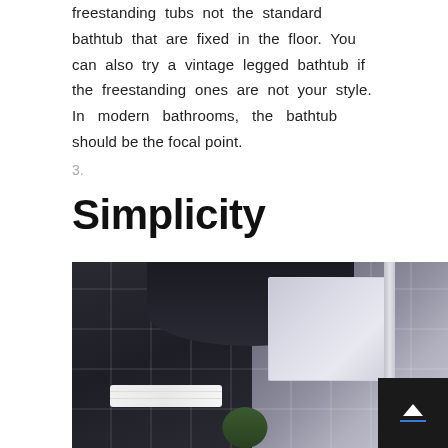freestanding tubs not the standard bathtub that are fixed in the floor. You can also try a vintage legged bathtub if the freestanding ones are not your style. In modern bathrooms, the bathtub should be the focal point.
3.
Simplicity
[Figure (photo): Photograph of a modern bathroom interior featuring dark slate/charcoal tiles on the walls, a large arched mirror or glass partition, white folded towels on a shelf, a small plant, and a vertical chrome/silver bar. A navigation button (up arrow with blue underline) is visible in the bottom right corner.]